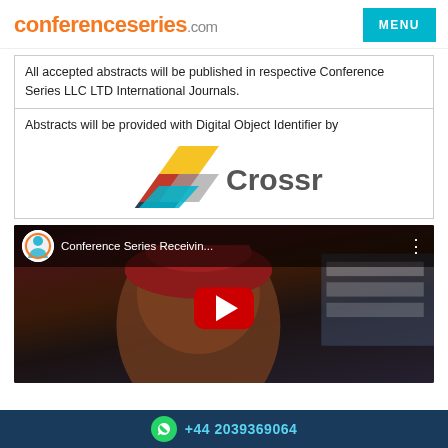[Figure (logo): conferenceseries.com logo in orange and grey, with MENU button in teal top right]
All accepted abstracts will be published in respective Conference Series LLC LTD International Journals.
Abstracts will be provided with Digital Object Identifier by
[Figure (logo): Crossref logo with colorful geometric chevron shapes and the word Crossref in dark grey]
[Figure (screenshot): YouTube video thumbnail showing Conference Series Receivin... with person wearing red hat, play button overlay]
+44 2039369064